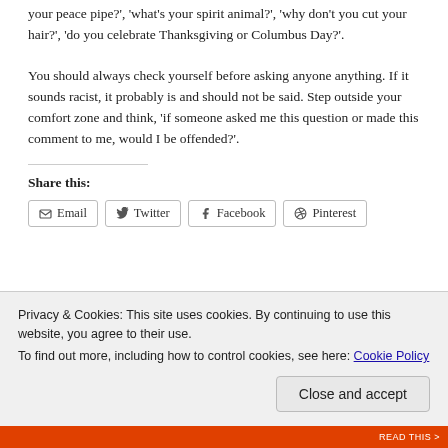your peace pipe?', 'what's your spirit animal?', 'why don't you cut your hair?', 'do you celebrate Thanksgiving or Columbus Day?'.
You should always check yourself before asking anyone anything. If it sounds racist, it probably is and should not be said. Step outside your comfort zone and think, 'if someone asked me this question or made this comment to me, would I be offended?'.
Share this:
Email  Twitter  Facebook  Pinterest
Privacy & Cookies: This site uses cookies. By continuing to use this website, you agree to their use.
To find out more, including how to control cookies, see here: Cookie Policy
Close and accept